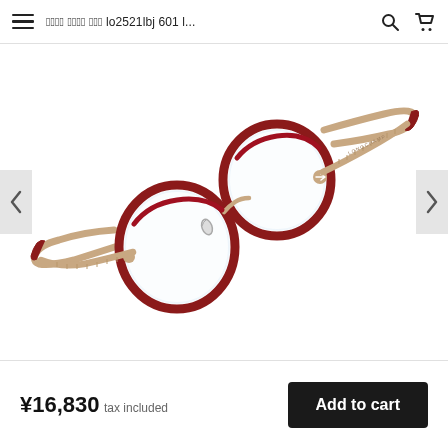≡  ??????? ??????? ??? lo2521lbj 601 l...  🔍  🛒
[Figure (photo): Red and gold round eyeglasses frames (Longchamp lo2521lbj 601) displayed at an angle on white background. The frames have circular red-framed lenses with gold metal temples featuring decorative arrow detail.]
¥16,830  tax included
Add to cart